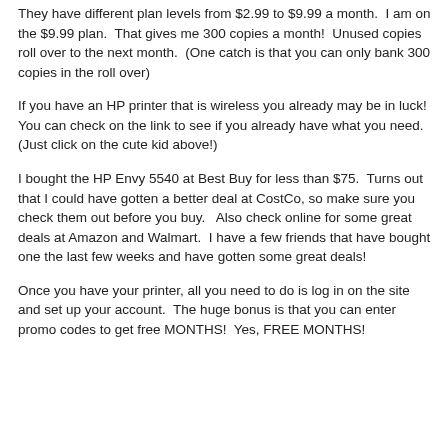They have different plan levels from $2.99 to $9.99 a month.  I am on the $9.99 plan.  That gives me 300 copies a month!  Unused copies roll over to the next month.  (One catch is that you can only bank 300 copies in the roll over)
If you have an HP printer that is wireless you already may be in luck!  You can check on the link to see if you already have what you need. (Just click on the cute kid above!)
I bought the HP Envy 5540 at Best Buy for less than $75.  Turns out that I could have gotten a better deal at CostCo, so make sure you check them out before you buy.   Also check online for some great deals at Amazon and Walmart.  I have a few friends that have bought one the last few weeks and have gotten some great deals!
Once you have your printer, all you need to do is log in on the site and set up your account.  The huge bonus is that you can enter promo codes to get free MONTHS!  Yes, FREE MONTHS!